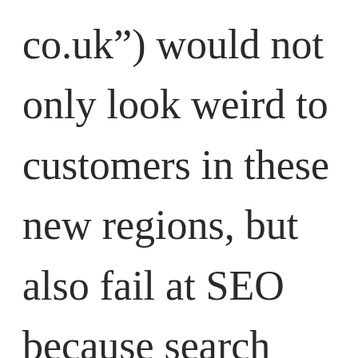co.uk”) would not only look weird to customers in these new regions, but also fail at SEO because search engines